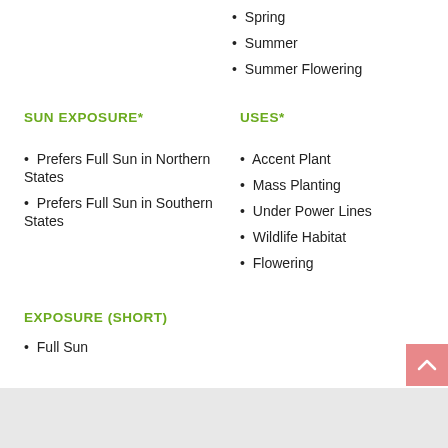Spring
Summer
Summer Flowering
SUN EXPOSURE*
USES*
Prefers Full Sun in Northern States
Accent Plant
Prefers Full Sun in Southern States
Mass Planting
Under Power Lines
Wildlife Habitat
Flowering
EXPOSURE (SHORT)
Full Sun